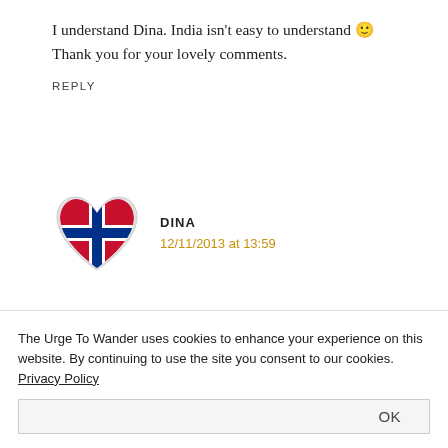I understand Dina. India isn't easy to understand 🙂 Thank you for your lovely comments.
REPLY
[Figure (illustration): Heart-shaped avatar with Norwegian flag design (red background, blue and white cross)]
DINA
12/11/2013 at 13:59
Some 15 years ago I was totally set on going to India, read travel books, wanted to visit an ashram the whole job. 🙂 Then there were...
The Urge To Wander uses cookies to enhance your experience on this website. By continuing to use the site you consent to our cookies. Privacy Policy
OK